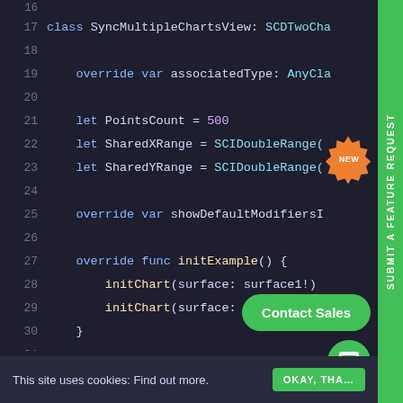[Figure (screenshot): Code editor screenshot showing Swift source code for SyncMultipleChartsView class with line numbers 17–34, dark theme. Overlays include a NEW badge, Contact Sales button, chat icon, and a cookie consent bar.]